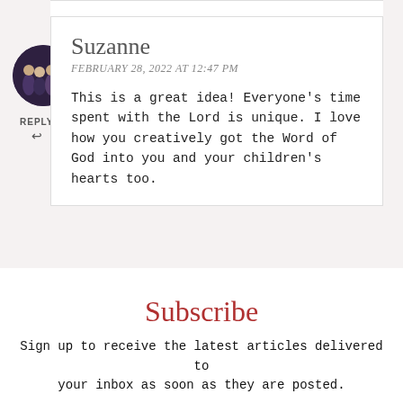[Figure (photo): Circular avatar photo of a group of people in formal/dark attire]
REPLY ↩
Suzanne
FEBRUARY 28, 2022 AT 12:47 PM
This is a great idea! Everyone's time spent with the Lord is unique. I love how you creatively got the Word of God into you and your children's hearts too.
Subscribe
×
Sign up to receive the latest articles delivered to your inbox as soon as they are posted.
Email Address *